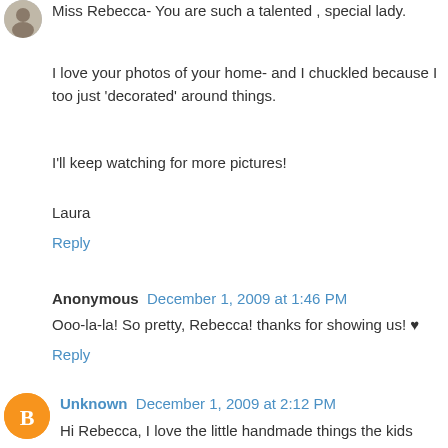[Figure (photo): Small circular avatar image top left]
Miss Rebecca- You are such a talented , special lady.
I love your photos of your home- and I chuckled because I too just 'decorated' around things.
I'll keep watching for more pictures!
Laura
Reply
Anonymous   December 1, 2009 at 1:46 PM
Ooo-la-la! So pretty, Rebecca! thanks for showing us! ♥
Reply
[Figure (logo): Blogger orange circle avatar with B letter]
Unknown   December 1, 2009 at 2:12 PM
Hi Rebecca, I love the little handmade things the kids make thru the years..I lost my skinny tree and a bunch of lights, Coca~Cola lights and ornaments & my brand new tree in a fire about 2 years ago..so I am trying to replace them. Hard